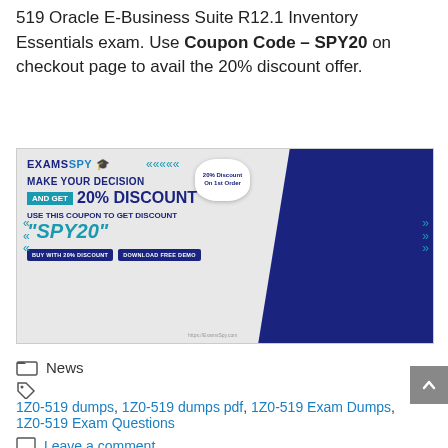519 Oracle E-Business Suite R12.1 Inventory Essentials exam. Use Coupon Code – SPY20 on checkout page to avail the 20% discount offer.
[Figure (illustration): ExamsSpy promotional banner advertising 20% discount using coupon code SPY20. Contains logo, text 'MAKE YOUR DECISION AND GET 20% DISCOUNT', 'USE THIS COUPON TO GET DISCOUNT', '"SPY20"', buttons 'BUY WITH 20% DISCOUNT' and 'DOWNLOAD FREE DEMO', and a jumping man in suit.]
News
1Z0-519 dumps, 1Z0-519 dumps pdf, 1Z0-519 Exam Dumps, 1Z0-519 Exam Questions
Leave a comment